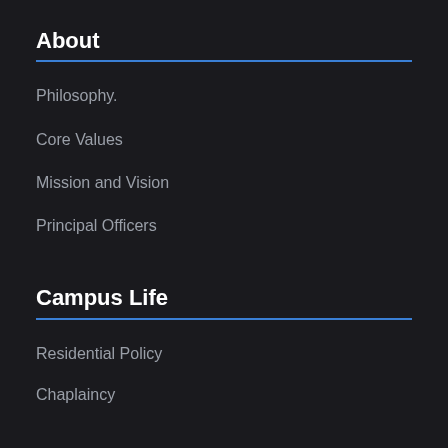About
Philosophy.
Core Values
Mission and Vision
Principal Officers
Campus Life
Residential Policy
Chaplaincy